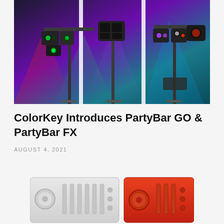[Figure (photo): Party lighting equipment on stands — multiple LED par lights, effect lights with green and purple LEDs mounted on T-bars and tripod stands, colorful stage lighting background with purple and teal/cyan colors]
ColorKey Introduces PartyBar GO & PartyBar FX
AUGUST 4, 2021
[Figure (photo): Two lighting controller devices side by side — one white/silver controller and one red/orange controller with knobs and buttons visible]